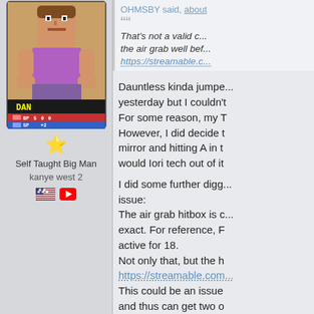[Figure (screenshot): Pixel art game character card for 'DAN' showing BP 500 SP +2]
[Figure (illustration): Gold star icon indicating user rank]
Self Taught Big Man
kanye west 2
[Figure (illustration): US flag icon and YouTube icon]
OHMSBY said, about
That's not a valid c... the air grab well bef...
https://streamable.c...
Dauntless kinda jumped yesterday but I couldn't For some reason, my T However, I did decide t mirror and hitting A in t would Iori tech out of it
I did some further digg issue: The air grab hitbox is c exact. For reference, F active for 18. Not only that, but the h
https://streamable.com...
This could be an issue and thus can get two o IMMEDIATELY catch a